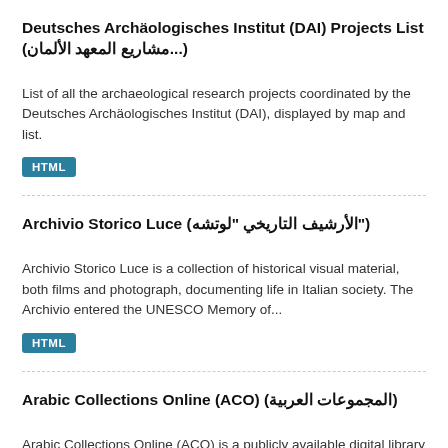Deutsches Archäologisches Institut (DAI) Projects List (مشاريع المعهد الألمان...)
List of all the archaeological research projects coordinated by the Deutsches Archäologisches Institut (DAI), displayed by map and list.
HTML
Archivio Storico Luce (الأرشيف التاريخي "لوتشه")
Archivio Storico Luce is a collection of historical visual material, both films and photograph, documenting life in Italian society. The Archivio entered the UNESCO Memory of...
HTML
Arabic Collections Online (ACO) (المجموعات العربية)
Arabic Collections Online (ACO) is a publicly available digital library of Arabic-language items which...